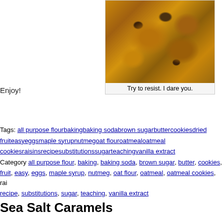[Figure (photo): Close-up photo of oatmeal cookies, golden-brown and textured]
Try to resist. I dare you.
Enjoy!
Tags: all purpose flourbakingbaking sodabrown sugarbuttercookiesdried fruiteasyeggsmaple syrupnutmegoat flouroatmealoatmeal cookiesraisinsrecipesubstitutionssugarteachingvanilla extract
Category all purpose flour, baking, baking soda, brown sugar, butter, cookies, fruit, easy, eggs, maple syrup, nutmeg, oat flour, oatmeal, oatmeal cookies, raisins, recipe, substitutions, sugar, teaching, vanilla extract
Sea Salt Caramels